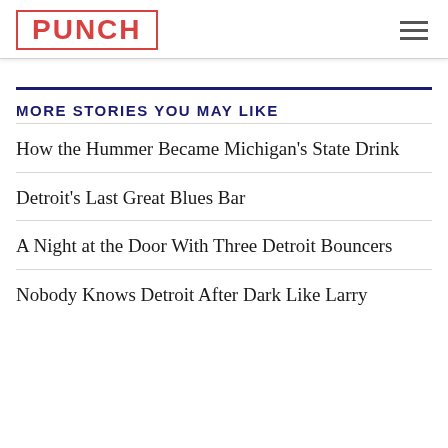PUNCH
MORE STORIES YOU MAY LIKE
How the Hummer Became Michigan's State Drink
Detroit's Last Great Blues Bar
A Night at the Door With Three Detroit Bouncers
Nobody Knows Detroit After Dark Like Larry